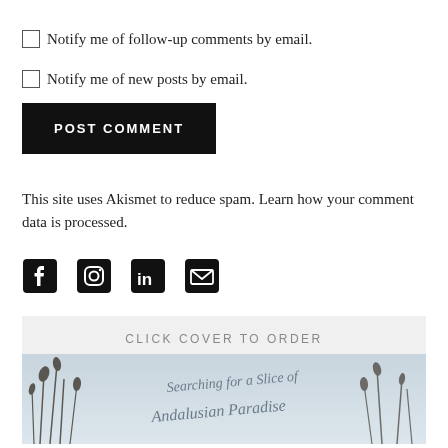Notify me of follow-up comments by email.
Notify me of new posts by email.
POST COMMENT
This site uses Akismet to reduce spam. Learn how your comment data is processed.
[Figure (illustration): Social media icons: Facebook, Instagram, LinkedIn, Email]
CLICK COVER TO ORDER
[Figure (photo): Book cover with handwritten text 'Searching for a Slice of Andalusian Paradise' over a misty background with grass silhouettes]